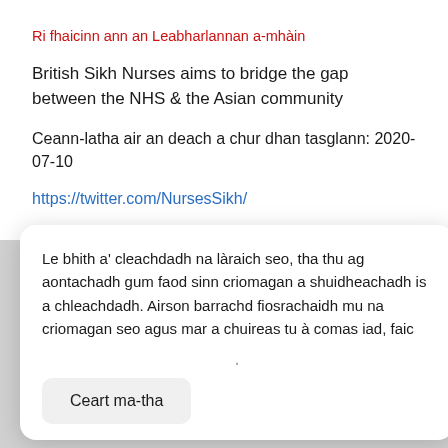Ri fhaicinn ann an Leabharlannan a-mhàin
British Sikh Nurses aims to bridge the gap between the NHS & the Asian community
Ceann-latha air an deach a chur dhan tasglann: 2020-07-10
https://twitter.com/NursesSikh/
Burdott Trust
Le bhith a' cleachdadh na làraich seo, tha thu ag aontachadh gum faod sinn criomagan a shuidheachadh is a chleachdadh. Airson barrachd fiosrachaidh mu na criomagan seo agus mar a chuireas tu à comas iad, faic
Ceart ma-tha